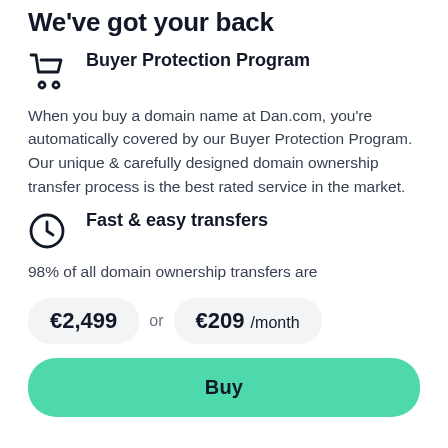We've got your back
Buyer Protection Program
When you buy a domain name at Dan.com, you're automatically covered by our Buyer Protection Program. Our unique & carefully designed domain ownership transfer process is the best rated service in the market.
Fast & easy transfers
98% of all domain ownership transfers are
€2,499 or €209 /month
Buy